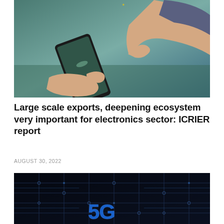[Figure (photo): Close-up of hands holding and touching a smartphone screen, person wearing a suit jacket, blurred background with yellow bokeh]
Large scale exports, deepening ecosystem very important for electronics sector: ICRIER report
AUGUST 30, 2022
[Figure (photo): Close-up of a dark circuit board with glowing blue 5G text and white circuit traces, representing electronics/technology]